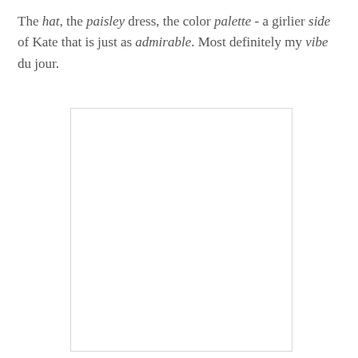The hat, the paisley dress, the color palette - a girlier side of Kate that is just as admirable. Most definitely my vibe du jour.
[Figure (photo): A white/blank rectangular image placeholder with a light grey border]